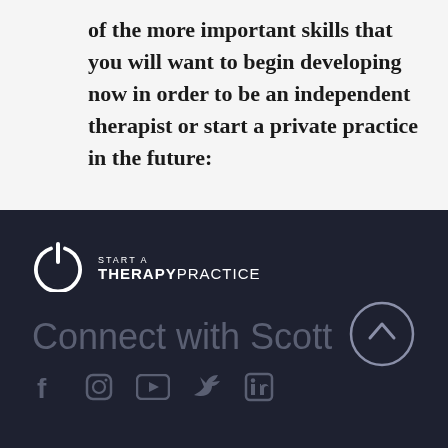of the more important skills that you will want to begin developing now in order to be an independent therapist or start a private practice in the future:
[Figure (logo): Start A Therapy Practice logo with power button icon and text]
Connect with Scott
[Figure (illustration): Social media icons: Facebook, Instagram, YouTube, Twitter, LinkedIn]
[Figure (illustration): Scroll-up circular arrow button]